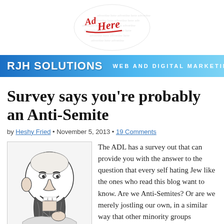[Figure (illustration): Circular advertisement placeholder with red script text 'Ad Here' on white background with faint repeated 'advertise here' text]
[Figure (logo): RJH Solutions Web and Digital Marketing banner in blue gradient]
Survey says you’re probably an Anti-Semite
by Heshy Fried • November 5, 2013 • 19 Comments
[Figure (illustration): Black and white caricature drawing of a bearded man with exaggerated features]
The ADL has a survey out that can provide you with the answer to the question that every self hating Jew like the ones who read this blog want to know. Are we Anti-Semites? Or are we merely jostling our own, in a similar way that other minority groups